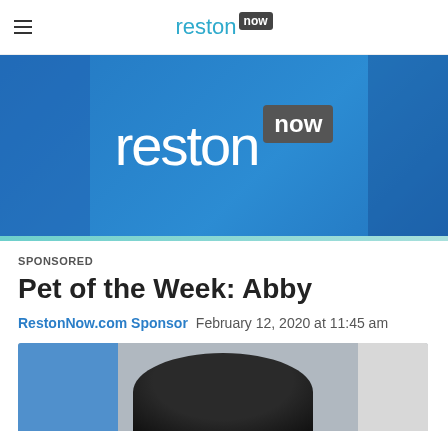reston now
[Figure (logo): RestonNow.com hero banner with large white 'reston now' logo on blue background with architectural building overlays]
SPONSORED
Pet of the Week: Abby
RestonNow.com Sponsor   February 12, 2020 at 11:45 am
[Figure (photo): Partial photo of a dark-furred dog (Abby) against a blue and light background]